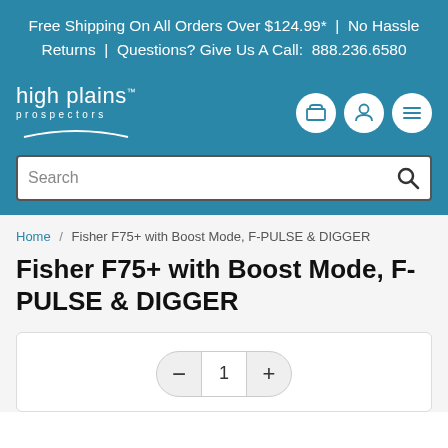Free Shipping On All Orders Over $124.99* | No Hassle Returns | Questions? Give Us A Call: 888.236.6580
[Figure (logo): High Plains Prospectors logo with wave graphic and icon buttons for cart, account, and menu]
Search
Home / Fisher F75+ with Boost Mode, F-PULSE & DIGGER
Fisher F75+ with Boost Mode, F-PULSE & DIGGER
[Figure (other): Quantity selector showing minus button, value 1, and plus button]